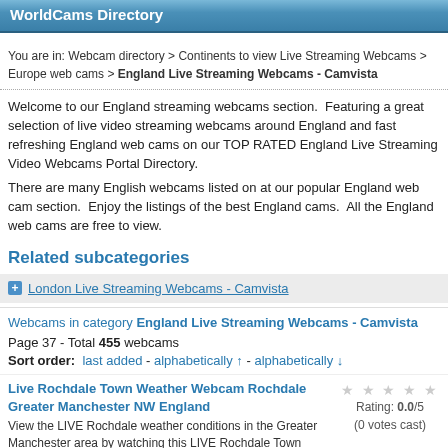WorldCams Directory
You are in: Webcam directory > Continents to view Live Streaming Webcams > Europe web cams > England Live Streaming Webcams - Camvista
Welcome to our England streaming webcams section. Featuring a great selection of live video streaming webcams around England and fast refreshing England web cams on our TOP RATED England Live Streaming Video Webcams Portal Directory.

There are many English webcams listed on at our popular England web cam section. Enjoy the listings of the best England cams. All the England web cams are free to view.
Related subcategories
London Live Streaming Webcams - Camvista
Webcams in category England Live Streaming Webcams - Camvista
Page 37 - Total 455 webcams
Sort order: last added - alphabetically ↑ - alphabetically ↓
Live Rochdale Town Weather Webcam Rochdale Greater Manchester NW England
View the LIVE Rochdale weather conditions in the Greater Manchester area by watching this LIVE Rochdale Town weather web cam in the Greater
Rating: 0.0/5
(0 votes cast)